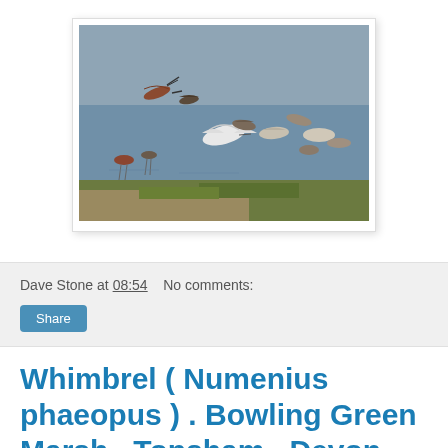[Figure (photo): A flock of wading birds, including godwits and other shorebirds, taking flight and gathered at a marshy waterside area with grey water in the background and green grass and sandy ground in the foreground.]
Dave Stone at 08:54    No comments:
Share
Whimbrel ( Numenius phaeopus ) . Bowling Green Marsh . Topsham . Devon .